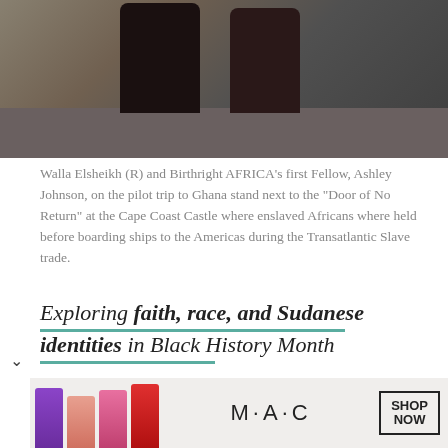[Figure (photo): Two people standing next to the 'Door of No Return' at the Cape Coast Castle, dark stone walls and floor visible]
Walla Elsheikh (R) and Birthright AFRICA’s first Fellow, Ashley Johnson, on the pilot trip to Ghana stand next to the “Door of No Return” at the Cape Coast Castle where enslaved Africans where held before boarding ships to the Americas during the Transatlantic Slave trade.
Exploring faith, race, and Sudanese identities in Black History Month
By Guest Author Walla Elsheikh
In my identification with Blackness around
[Figure (advertisement): MAC cosmetics advertisement showing lipsticks in purple, peach, pink and red colors with SHOP NOW button]